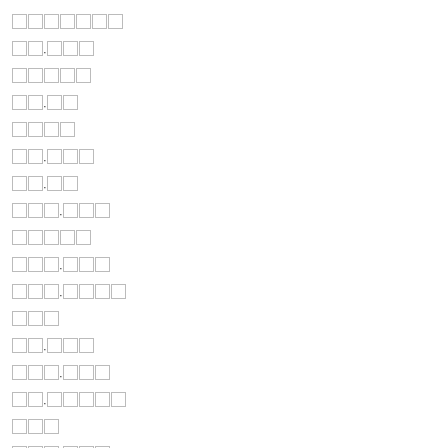[redacted/encoded content - multiple rows of character boxes]